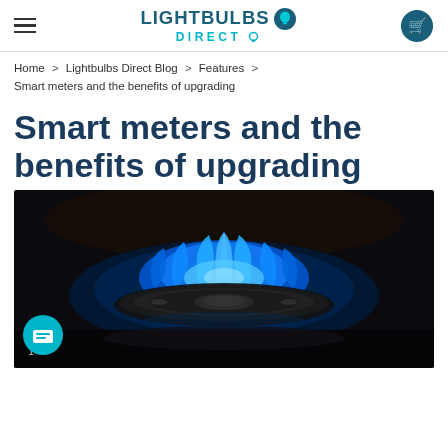LIGHTBULBS DIRECT
Home > Lightbulbs Direct Blog > Features > Smart meters and the benefits of upgrading
Smart meters and the benefits of upgrading
[Figure (photo): A gas burner on a hob with blue flames against a dark background]